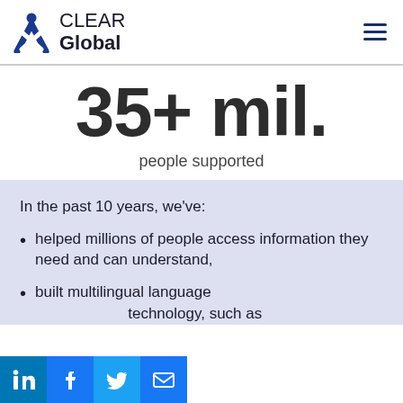CLEAR Global
35+ mil.
people supported
In the past 10 years, we've:
helped millions of people access information they need and can understand,
built multilingual language technology, such as